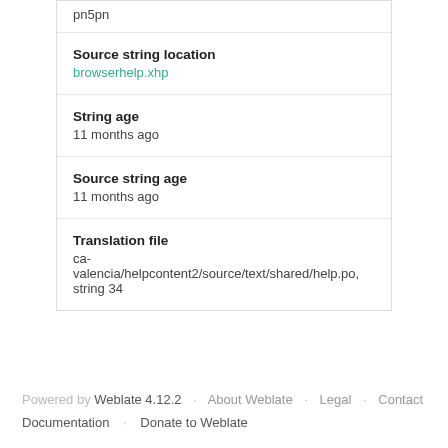pn5pn
Source string location
browserhelp.xhp
String age
11 months ago
Source string age
11 months ago
Translation file
ca-valencia/helpcontent2/source/text/shared/help.po, string 34
Powered by Weblate 4.12.2   About Weblate   Legal   Contact   Documentation   Donate to Weblate